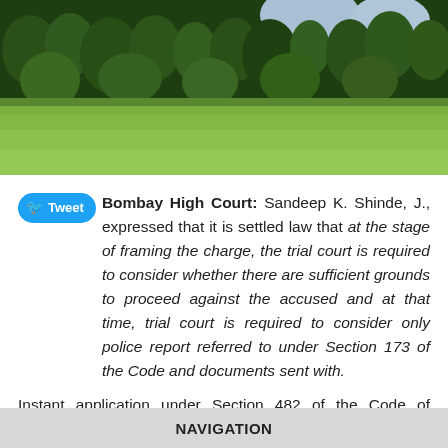[Figure (photo): Outdoor photo of a large green lawn/cricket ground with dense palm and other trees in the background, and partial sky visible in the upper right, appearing to be a Mumbai park or maidan near the Bombay High Court.]
Tweet Bombay High Court: Sandeep K. Shinde, J., expressed that it is settled law that at the stage of framing the charge, the trial court is required to consider whether there are sufficient grounds to proceed against the accused and at that time, trial court is required to consider only police report referred to under Section 173 of the Code and documents sent with.
Instant application under Section 482 of the Code of Criminal Procedure, 1973 challenged the order of the
NAVIGATION